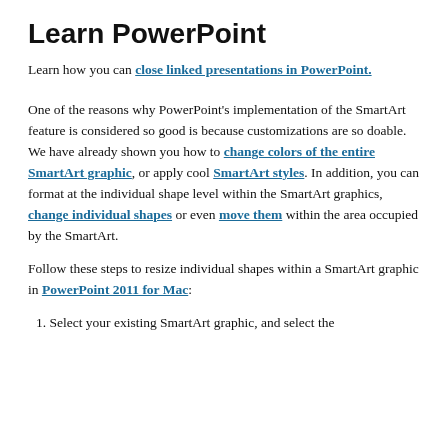Learn PowerPoint
Learn how you can close linked presentations in PowerPoint.
One of the reasons why PowerPoint's implementation of the SmartArt feature is considered so good is because customizations are so doable. We have already shown you how to change colors of the entire SmartArt graphic, or apply cool SmartArt styles. In addition, you can format at the individual shape level within the SmartArt graphics, change individual shapes or even move them within the area occupied by the SmartArt.
Follow these steps to resize individual shapes within a SmartArt graphic in PowerPoint 2011 for Mac:
1. Select your existing SmartArt graphic, and select the